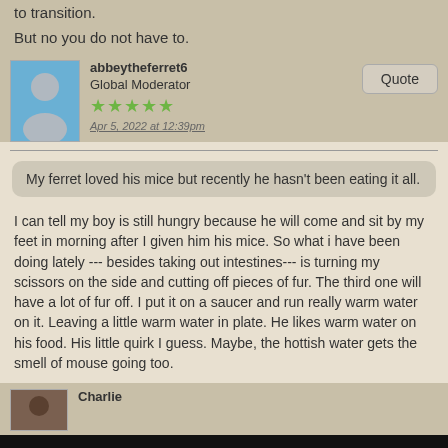to transition.
But no you do not have to.
abbeytheferret6
Global Moderator
Apr 5, 2022 at 12:39pm
Quote
My ferret loved his mice but recently he hasn't been eating it all.
I can tell my boy is still hungry because he will come and sit by my feet in morning after I given him his mice. So what i have been doing lately --- besides taking out intestines--- is turning my scissors on the side and cutting off pieces of fur. The third one will have a lot of fur off. I put it on a saucer and run really warm water on it. Leaving a little warm water in plate. He likes warm water on his food. His little quirk I guess. Maybe, the hottish water gets the smell of mouse going too.
Charlie